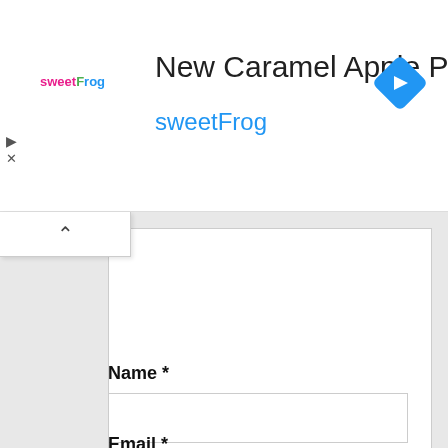[Figure (screenshot): Advertisement banner for sweetFrog 'New Caramel Apple Pie Swirl' with logo, title text, brand name in blue, and a blue navigation arrow icon on the right]
Name *
Email *